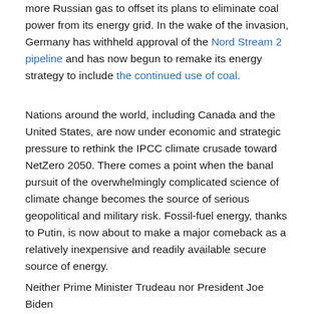more Russian gas to offset its plans to eliminate coal power from its energy grid. In the wake of the invasion, Germany has withheld approval of the Nord Stream 2 pipeline and has now begun to remake its energy strategy to include the continued use of coal.
Nations around the world, including Canada and the United States, are now under economic and strategic pressure to rethink the IPCC climate crusade toward NetZero 2050. There comes a point when the banal pursuit of the overwhelmingly complicated science of climate change becomes the source of serious geopolitical and military risk. Fossil-fuel energy, thanks to Putin, is now about to make a major comeback as a relatively inexpensive and readily available secure source of energy.
Neither Prime Minister Trudeau nor President Joe Biden can in the wake of Putin's disruption of the world...